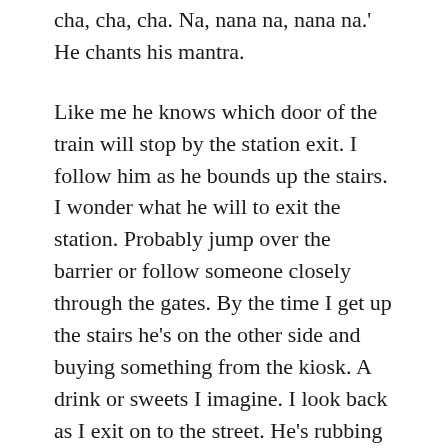cha, cha, cha. Na, nana na, nana na.' He chants his mantra.
Like me he knows which door of the train will stop by the station exit. I follow him as he bounds up the stairs. I wonder what he will to exit the station. Probably jump over the barrier or follow someone closely through the gates. By the time I get up the stairs he's on the other side and buying something from the kiosk. A drink or sweets I imagine. I look back as I exit on to the street. He's rubbing a scratch – card with a coin. I wonder if that works for him?
March 18, 2019 / All, Current Issues, The Arts, Writing / 1 Comment